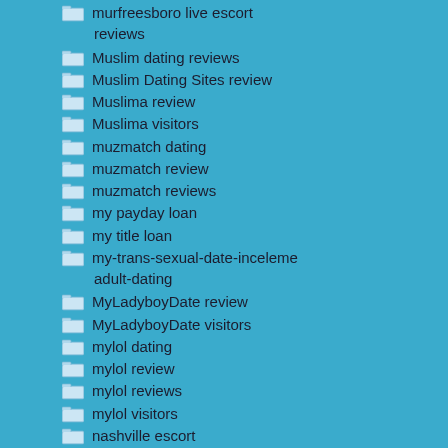murfreesboro live escort reviews
Muslim dating reviews
Muslim Dating Sites review
Muslima review
Muslima visitors
muzmatch dating
muzmatch review
muzmatch reviews
my payday loan
my title loan
my-trans-sexual-date-inceleme adult-dating
MyLadyboyDate review
MyLadyboyDate visitors
mylol dating
mylol review
mylol reviews
mylol visitors
nashville escort
Naughtydate review
naughtydate reviews
nebraska-dating review